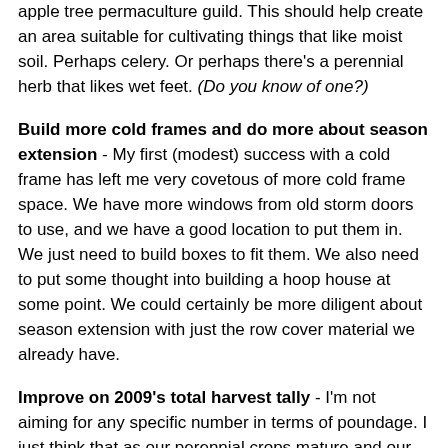apple tree permaculture guild. This should help create an area suitable for cultivating things that like moist soil. Perhaps celery. Or perhaps there's a perennial herb that likes wet feet. (Do you know of one?)
Build more cold frames and do more about season extension - My first (modest) success with a cold frame has left me very covetous of more cold frame space. We have more windows from old storm doors to use, and we have a good location to put them in. We just need to build boxes to fit them. We also need to put some thought into building a hoop house at some point. We could certainly be more diligent about season extension with just the row cover material we already have.
Improve on 2009's total harvest tally - I'm not aiming for any specific number in terms of poundage. I just think that as our perennial crops mature and our experience grows, we should see some increase in the amount of food we harvest and glean. Since our tomato crop was nearly wiped out by blight this year, we lost out on at least 75 pounds of harvest weight which we should be able to count on in a better year.